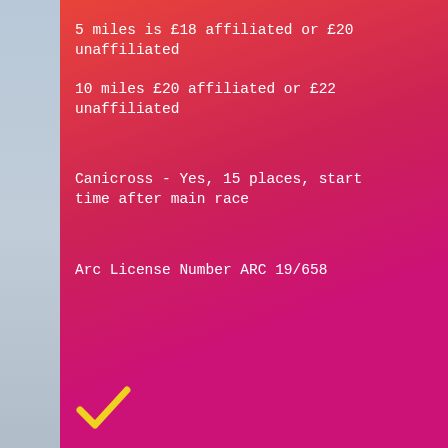5 miles is £18 affiliated or £20 unaffiliated
10 miles £20 affiliated or £22 unaffiliated
Canicross - Yes, 15 places, start time after main race
Arc License Number ARC 19/658
[Figure (illustration): Yellow checkmark icon at the bottom left of the panel]